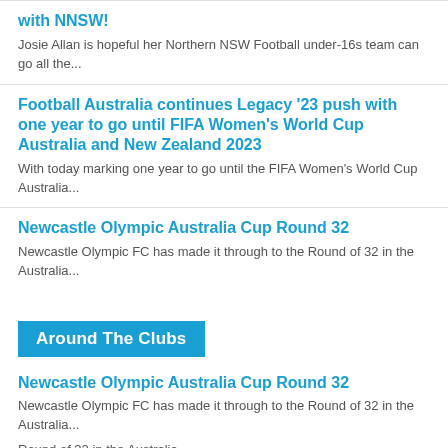with NNSW!
Josie Allan is hopeful her Northern NSW Football under-16s team can go all the...
Football Australia continues Legacy ’23 push with one year to go until FIFA Women’s World Cup Australia and New Zealand 2023
With today marking one year to go until the FIFA Women’s World Cup Australia...
Newcastle Olympic Australia Cup Round 32
Newcastle Olympic FC has made it through to the Round of 32 in the Australia...
Around The Clubs
Newcastle Olympic Australia Cup Round 32
Newcastle Olympic FC has made it through to the Round of 32 in the Australia...